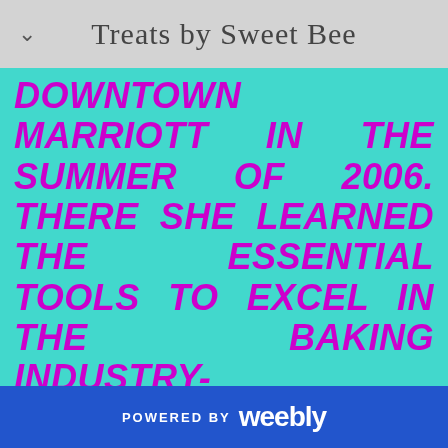Treats by Sweet Bee
DOWNTOWN MARRIOTT IN THE SUMMER OF 2006. THERE SHE LEARNED THE ESSENTIAL TOOLS TO EXCEL IN THE BAKING INDUSTRY- CREATIVITY, QUALITY RECIPES AND PASSION. SHE RETURNED TO SCHOOL ENERGIZED TO USE WHAT SHE LEARNED AND SHARE WITH CLASSMATES. IT WAS THEN SHE DECIDED THAT SHE'D
POWERED BY weebly